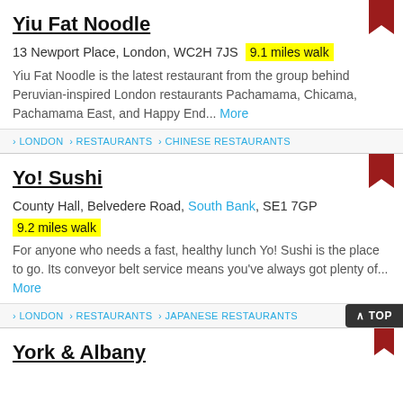Yiu Fat Noodle
13 Newport Place, London, WC2H 7JS  9.1 miles walk
Yiu Fat Noodle is the latest restaurant from the group behind Peruvian-inspired London restaurants Pachamama, Chicama, Pachamama East, and Happy End...  More
> LONDON > RESTAURANTS > CHINESE RESTAURANTS
Yo! Sushi
County Hall, Belvedere Road, South Bank, SE1 7GP  9.2 miles walk
For anyone who needs a fast, healthy lunch Yo! Sushi is the place to go. Its conveyor belt service means you've always got plenty of...  More
> LONDON > RESTAURANTS > JAPANESE RESTAURANTS
York & Albany